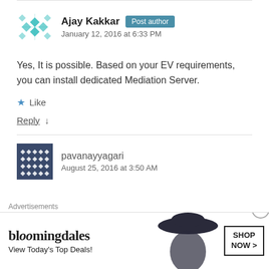Ajay Kakkar · Post author · January 12, 2016 at 6:33 PM
Yes, It is possible. Based on your EV requirements, you can install dedicated Mediation Server.
Like
Reply ↓
pavanayyagari · August 25, 2016 at 3:50 AM
Advertisements
[Figure (other): Bloomingdale's advertisement banner with text 'View Today's Top Deals!' and 'SHOP NOW >' button, featuring a woman in a hat.]